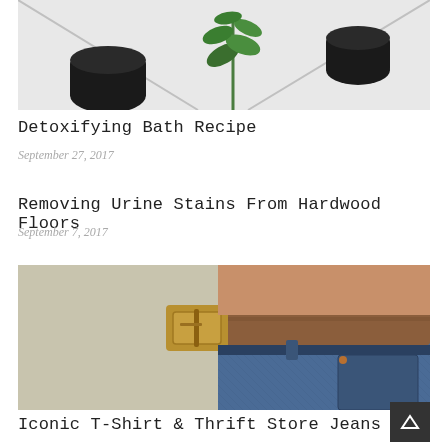[Figure (photo): Photo showing two black essential oil bottle caps and a green plant sprig on a white/grey surface with diagonal lines]
Detoxifying Bath Recipe
September 27, 2017
Removing Urine Stains From Hardwood Floors
September 7, 2017
[Figure (photo): Close-up photo of someone wearing denim jeans with a brown leather belt and gold buckle]
Iconic T-Shirt & Thrift Store Jeans